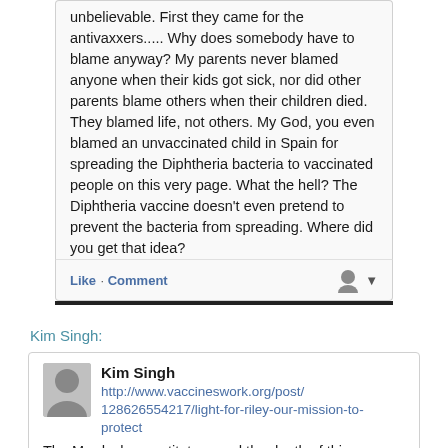unbelievable. First they came for the antivaxxers..... Why does somebody have to blame anyway? My parents never blamed anyone when their kids got sick, nor did other parents blame others when their children died. They blamed life, not others. My God, you even blamed an unvaccinated child in Spain for spreading the Diphtheria bacteria to vaccinated people on this very page. What the hell? The Diphtheria vaccine doesn't even pretend to prevent the bacteria from spreading. Where did you get that idea?
Like · Comment
Kim Singh:
Kim Singh http://www.vaccineswork.org/post/128626554217/light-for-riley-our-mission-to-protect The Murdoch presstitutes used the death of this poor baby to push harsh new vaccination laws through. They splashed this child all over their disgusting papers & attacked us for being baby killers & terrorists. Check this site out by the mother, Catherine Hughes & see where she writes, Firstly, the whooping cough vaccine needs to be offered